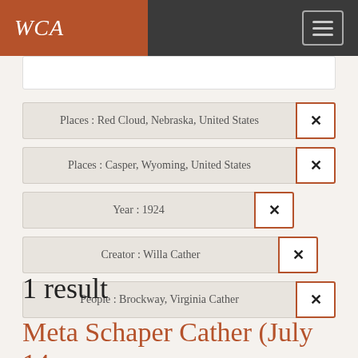WCA
Places : Red Cloud, Nebraska, United States ×
Places : Casper, Wyoming, United States ×
Year : 1924 ×
Creator : Willa Cather ×
People : Brockway, Virginia Cather ×
1 result
Meta Schaper Cather (July 14